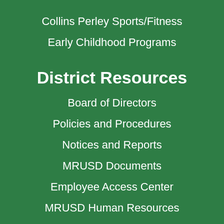Collins Perley Sports/Fitness
Early Childhood Programs
District Resources
Board of Directors
Policies and Procedures
Notices and Reports
MRUSD Documents
Employee Access Center
MRUSD Human Resources